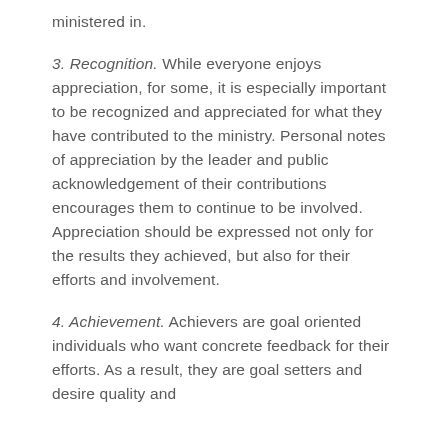ministered in.
3. Recognition. While everyone enjoys appreciation, for some, it is especially important to be recognized and appreciated for what they have contributed to the ministry. Personal notes of appreciation by the leader and public acknowledgement of their contributions encourages them to continue to be involved. Appreciation should be expressed not only for the results they achieved, but also for their efforts and involvement.
4. Achievement. Achievers are goal oriented individuals who want concrete feedback for their efforts. As a result, they are goal setters and desire quality and